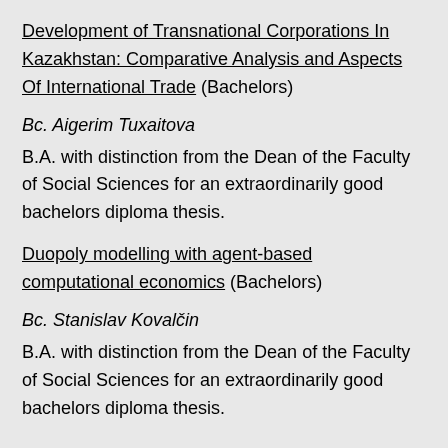Development of Transnational Corporations In Kazakhstan: Comparative Analysis and Aspects Of International Trade (Bachelors)
Bc. Aigerim Tuxaitova
B.A. with distinction from the Dean of the Faculty of Social Sciences for an extraordinarily good bachelors diploma thesis.
Duopoly modelling with agent-based computational economics (Bachelors)
Bc. Stanislav Kovalčin
B.A. with distinction from the Dean of the Faculty of Social Sciences for an extraordinarily good bachelors diploma thesis.